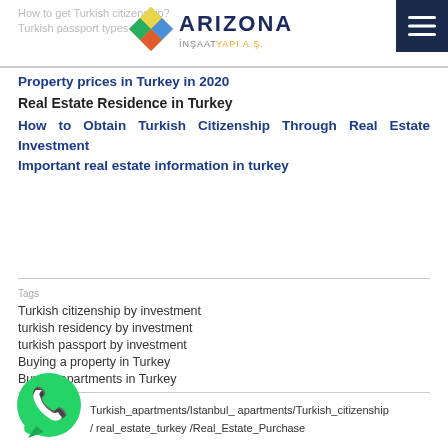How to get Turkish citizenship? / Turkish passport types
[Figure (logo): Arizona İnşaat Yapı A.Ş. logo with diamond-shaped colorful tiles and ARIZONA text in dark blue with YAPI A.Ş. in orange]
Property prices in Turkey in 2020
Real Estate Residence in Turkey
How to Obtain Turkish Citizenship Through Real Estate Investment
Important real estate information in turkey
Turkish citizenship by investment
turkish residency by investment
turkish passport by investment
Buying a property in Turkey
Buying apartments in Turkey
Turkish_apartments/Istanbul_ apartments/Turkish_citizenship /real_estate_turkey /Real_Estate_Purchase